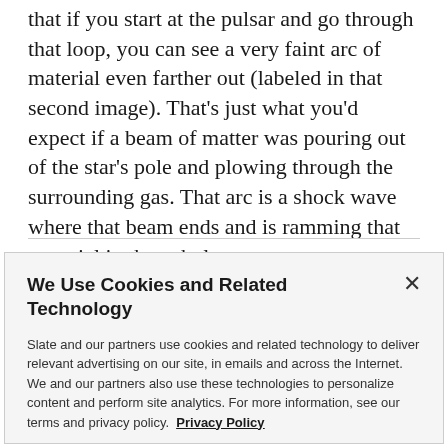that if you start at the pulsar and go through that loop, you can see a very faint arc of material even farther out (labeled in that second image). That's just what you'd expect if a beam of matter was pouring out of the star's pole and plowing through the surrounding gas. That arc is a shock wave where that beam ends and is ramming that material in the nebula.
We Use Cookies and Related Technology

Slate and our partners use cookies and related technology to deliver relevant advertising on our site, in emails and across the Internet. We and our partners also use these technologies to personalize content and perform site analytics. For more information, see our terms and privacy policy. Privacy Policy

OK